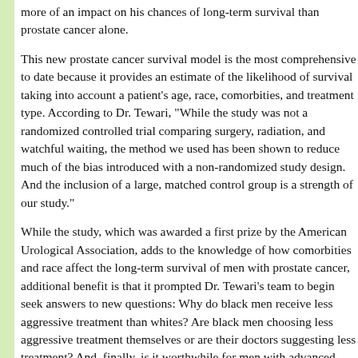more of an impact on his chances of long-term survival than prostate cancer alone.
This new prostate cancer survival model is the most comprehensive to date because it provides an estimate of the likelihood of survival taking into account a patient's age, race, comorbities, and treatment type. According to Dr. Tewari, "While the study was not a randomized controlled trial comparing surgery, radiation, and watchful waiting, the method we used has been shown to reduce much of the bias introduced with a non-randomized study design. And the inclusion of a large, matched control group is a strength of our study."
While the study, which was awarded a first prize by the American Urological Association, adds to the knowledge of how comorbities and race affect the long-term survival of men with prostate cancer, additional benefit is that it prompted Dr. Tewari's team to begin seek answers to new questions: Why do black men receive less aggressive treatment than whites? Are black men choosing less aggressive treatment themselves or are their doctors suggesting less treatment? And, finally, is it worthwhile for men with advanced diseases to treat their prostate cancer?
No personal information is collected and patient privacy is protected. The site does not promote particular doctors or specific